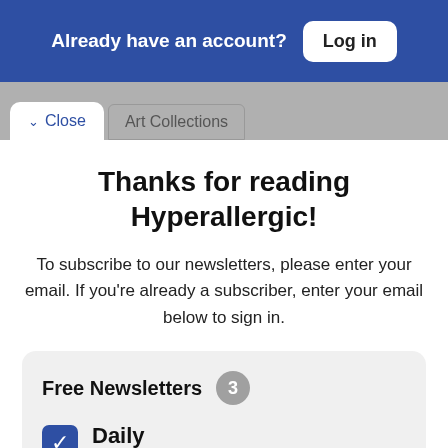Already have an account? Log in
Close   Art Collections
Thanks for reading Hyperallergic!
To subscribe to our newsletters, please enter your email. If you're already a subscriber, enter your email below to sign in.
Free Newsletters 3
Daily — The latest stories every weekday morning